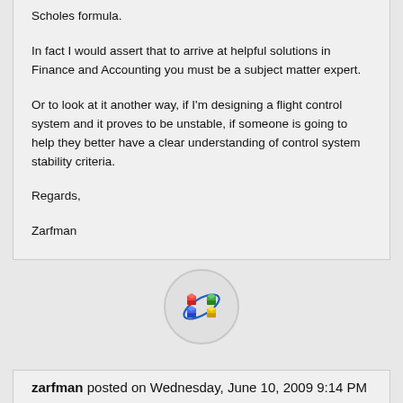Scholes formula.
In fact I would assert that to arrive at helpful solutions in Finance and Accounting you must be a subject matter expert.
Or to look at it another way, if I'm designing a flight control system and it proves to be unstable, if someone is going to help they better have a clear understanding of control system stability criteria.
Regards,
Zarfman
[Figure (logo): Circular avatar/logo with colorful atom-like icon on light gray background]
zarfman posted on Wednesday, June 10, 2009 9:14 PM
You say - Now it's time to look for solutions – to be creative and think outside the square. In this paper we'll offer a few tips and techniques for getting the creative juices flowing. We'll show you that anyone can be creative and that solutions can come from the most…